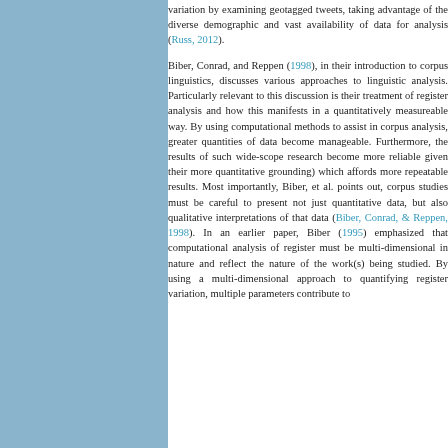variation by examining geotagged tweets, taking advantage of the diverse demographic and vast availability of data for analysis (Russ, 2012).
Biber, Conrad, and Reppen (1998), in their introduction to corpus linguistics, discusses various approaches to linguistic analysis. Particularly relevant to this discussion is their treatment of register analysis and how this manifests in a quantitatively measureable way. By using computational methods to assist in corpus analysis, greater quantities of data become manageable. Furthermore, the results of such wide-scope research become more reliable given their more quantitative grounding) which affords more repeatable results. Most importantly, Biber, et al. points out, corpus studies must be careful to present not just quantitative data, but also qualitative interpretations of that data (Biber, Conrad, & Reppen, 1998). In an earlier paper, Biber (1995) emphasized that computational analysis of register must be multi-dimensional in nature and reflect the nature of the work(s) being studied. By using a multi-dimensional approach to quantifying register variation, multiple parameters contribute to